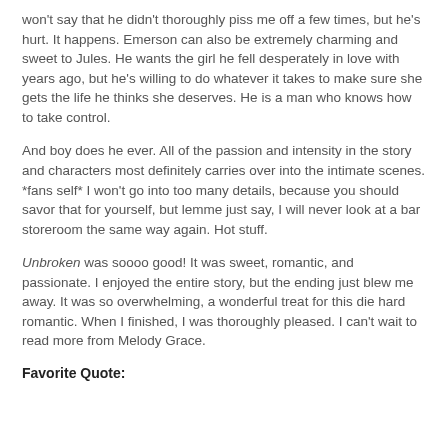won't say that he didn't thoroughly piss me off a few times, but he's hurt. It happens. Emerson can also be extremely charming and sweet to Jules. He wants the girl he fell desperately in love with years ago, but he's willing to do whatever it takes to make sure she gets the life he thinks she deserves. He is a man who knows how to take control.
And boy does he ever. All of the passion and intensity in the story and characters most definitely carries over into the intimate scenes. *fans self* I won't go into too many details, because you should savor that for yourself, but lemme just say, I will never look at a bar storeroom the same way again. Hot stuff.
Unbroken was soooo good! It was sweet, romantic, and passionate. I enjoyed the entire story, but the ending just blew me away. It was so overwhelming, a wonderful treat for this die hard romantic. When I finished, I was thoroughly pleased. I can't wait to read more from Melody Grace.
Favorite Quote: